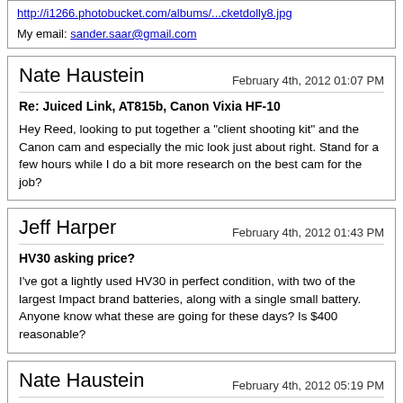http://i1266.photobucket.com/albums/...cketdolly8.jpg
My email: sander.saar@gmail.com
Nate Haustein
February 4th, 2012 01:07 PM
Re: Juiced Link, AT815b, Canon Vixia HF-10
Hey Reed, looking to put together a "client shooting kit" and the Canon cam and especially the mic look just about right. Stand for a few hours while I do a bit more research on the best cam for the job?
Jeff Harper
February 4th, 2012 01:43 PM
HV30 asking price?
I've got a lightly used HV30 in perfect condition, with two of the largest Impact brand batteries, along with a single small battery. Anyone know what these are going for these days? Is $400 reasonable?
Nate Haustein
February 4th, 2012 05:19 PM
Re: Juiced Link, AT815b, Canon Vixia HF-10
PM sent regarding the microphone.